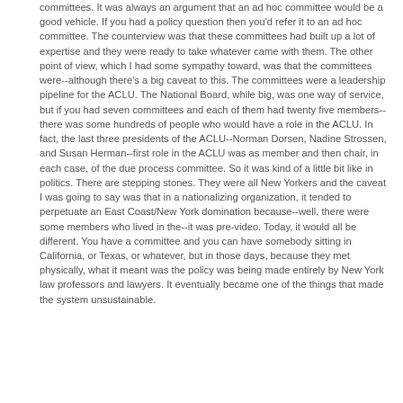committees. It was always an argument that an ad hoc committee would be a good vehicle. If you had a policy question then you'd refer it to an ad hoc committee. The counterview was that these committees had built up a lot of expertise and they were ready to take whatever came with them. The other point of view, which I had some sympathy toward, was that the committees were--although there's a big caveat to this. The committees were a leadership pipeline for the ACLU. The National Board, while big, was one way of service, but if you had seven committees and each of them had twenty five members--there was some hundreds of people who would have a role in the ACLU. In fact, the last three presidents of the ACLU--Norman Dorsen, Nadine Strossen, and Susan Herman--first role in the ACLU was as member and then chair, in each case, of the due process committee. So it was kind of a little bit like in politics. There are stepping stones. They were all New Yorkers and the caveat I was going to say was that in a nationalizing organization, it tended to perpetuate an East Coast/New York domination because--well, there were some members who lived in the--it was pre-video. Today, it would all be different. You have a committee and you can have somebody sitting in California, or Texas, or whatever, but in those days, because they met physically, what it meant was the policy was being made entirely by New York law professors and lawyers. It eventually became one of the things that made the system unsustainable.